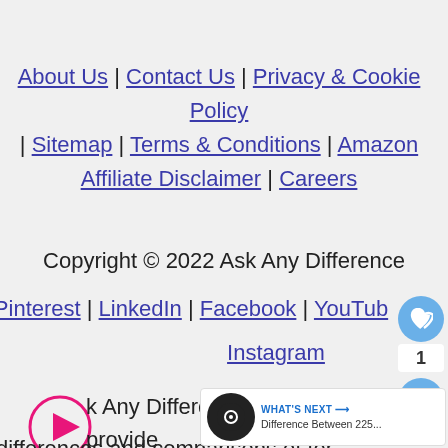About Us | Contact Us | Privacy & Cookie Policy | Sitemap | Terms & Conditions | Amazon Affiliate Disclaimer | Careers
Copyright © 2022 Ask Any Difference
Pinterest | LinkedIn | Facebook | YouTube | Instagram
k Any Difference is made to provide differences and comparisons of ter... and services. The vision is to cover all